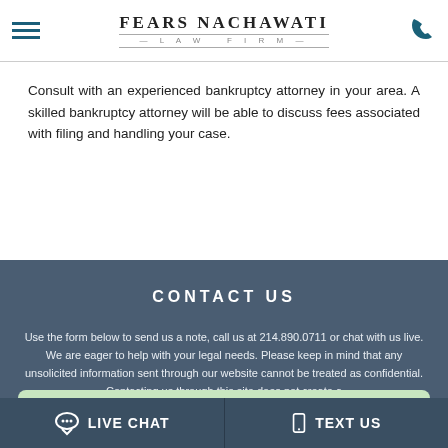FEARS NACHAWATI LAW FIRM
Consult with an experienced bankruptcy attorney in your area. A skilled bankruptcy attorney will be able to discuss fees associated with filing and handling your case.
CONTACT US
Use the form below to send us a note, call us at 214.890.0711 or chat with us live. We are eager to help with your legal needs. Please keep in mind that any unsolicited information sent through our website cannot be treated as confidential. Contacting us through this site does not create a...
[Figure (illustration): Chat bubble icon in green contact form area]
LIVE CHAT | TEXT US